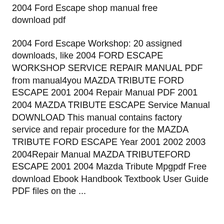2004 Ford Escape shop manual free download pdf
2004 Ford Escape Workshop: 20 assigned downloads, like 2004 FORD ESCAPE WORKSHOP SERVICE REPAIR MANUAL PDF from manual4you MAZDA TRIBUTE FORD ESCAPE 2001 2004 Repair Manual PDF 2001 2004 MAZDA TRIBUTE ESCAPE Service Manual DOWNLOAD This manual contains factory service and repair procedure for the MAZDA TRIBUTE FORD ESCAPE Year 2001 2002 2003 2004Repair Manual MAZDA TRIBUTEFORD ESCAPE 2001 2004 Mazda Tribute Mpgpdf Free download Ebook Handbook Textbook User Guide PDF files on the ...